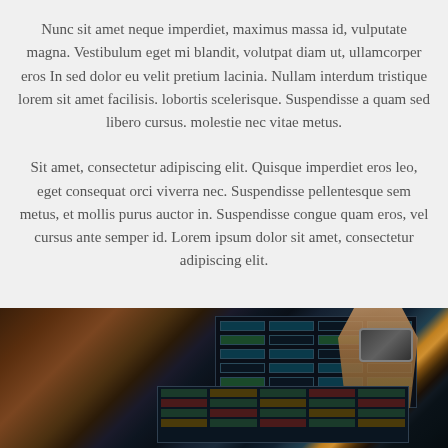Nunc sit amet neque imperdiet, maximus massa id, vulputate magna. Vestibulum eget mi blandit, volutpat diam ut, ullamcorper eros In sed dolor eu velit pretium lacinia. Nullam interdum tristique lorem sit amet facilisis. lobortis scelerisque. Suspendisse a quam sed libero cursus. molestie nec vitae metus.
Sit amet, consectetur adipiscing elit. Quisque imperdiet eros leo, eget consequat orci viverra nec. Suspendisse pellentesque sem metus, et mollis purus auctor in. Suspendisse congue quam eros, vel cursus ante semper id. Lorem ipsum dolor sit amet, consectetur adipiscing elit.
[Figure (photo): A photo showing hands working with what appears to be financial trading screens or spreadsheets, with a watch visible on the wrist, screens displaying data tables in blue and teal colors.]